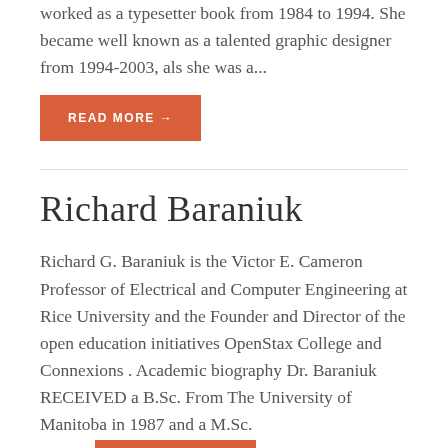worked as a typesetter book from 1984 to 1994. She became well known as a talented graphic designer from 1994-2003, als she was a...
READ MORE →
Richard Baraniuk
Richard G. Baraniuk is the Victor E. Cameron Professor of Electrical and Computer Engineering at Rice University and the Founder and Director of the open education initiatives OpenStax College and Connexions . Academic biography Dr. Baraniuk RECEIVED a B.Sc. From The University of Manitoba in 1987 and a M.Sc. from...
READ MORE →